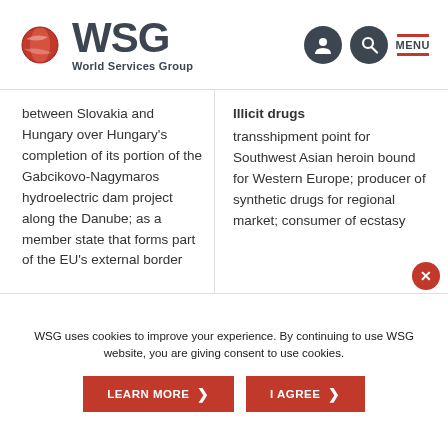WSG World Services Group
between Slovakia and Hungary over Hungary's completion of its portion of the Gabcikovo-Nagymaros hydroelectric dam project along the Danube; as a member state that forms part of the EU's external border
Illicit drugs transshipment point for Southwest Asian heroin bound for Western Europe; producer of synthetic drugs for regional market; consumer of ecstasy
WSG uses cookies to improve your experience. By continuing to use WSG website, you are giving consent to use cookies.